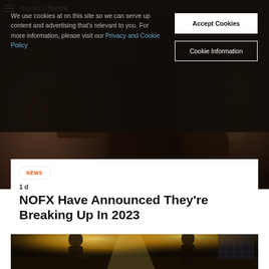musicfeeds
[Figure (photo): Band members with tattoos visible, dark background]
We use cookies at on this site so we can serve up content and advertising that's relevant to you. For more information, please visit our Privacy and Cookie Policy
Accept Cookies
Cookie Information
NEWS
1 d
NOFX Have Announced They're Breaking Up In 2023
[Figure (photo): Concert photo showing band members on stage with bright stage lighting, drummer and guitarist visible]